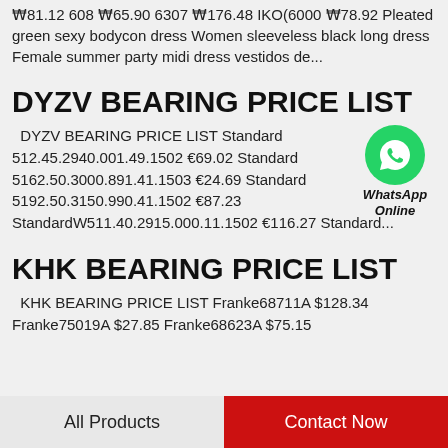₩81.12 608 ₩65.90 6307 ₩176.48 IKO(6000 ₩78.92 Pleated green sexy bodycon dress Women sleeveless black long dress Female summer party midi dress vestidos de...
DYZV BEARING PRICE LIST
DYZV BEARING PRICE LIST Standard 512.45.2940.001.49.1502 €69.02 Standard 5162.50.3000.891.41.1503 €24.69 Standard 5192.50.3150.990.41.1502 €87.23 Standard 511.40.2915.000.11.1502 €116.27 Standard...
[Figure (logo): WhatsApp green circle icon with phone handset, labeled WhatsApp Online]
KHK BEARING PRICE LIST
KHK BEARING PRICE LIST Franke68711A $128.34 Franke75019A $27.85 Franke68623A $75.15
All Products    Contact Now